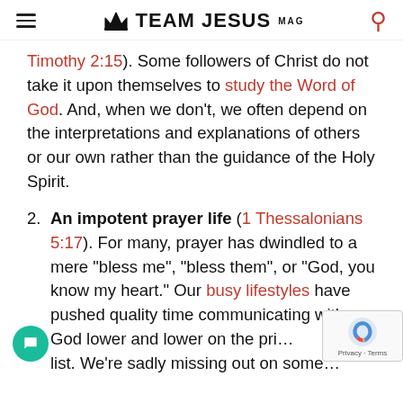TEAM JESUS MAG
Timothy 2:15). Some followers of Christ do not take it upon themselves to study the Word of God. And, when we don't, we often depend on the interpretations and explanations of others or our own rather than the guidance of the Holy Spirit.
2. An impotent prayer life (1 Thessalonians 5:17). For many, prayer has dwindled to a mere “bless me”, “bless them”, or “God, you know my heart.” Our busy lifestyles have pushed quality time communicating with God lower and lower on the pri… list. We’re sadly missing out on some…